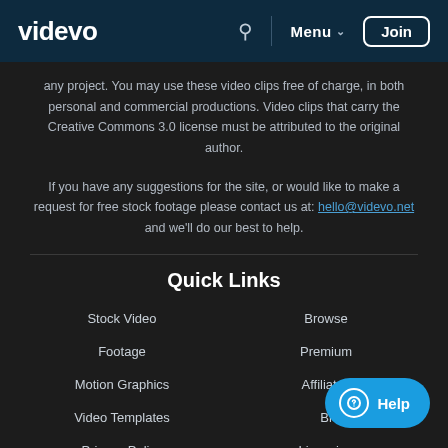videvo | Menu | Join
any project. You may use these video clips free of charge, in both personal and commercial productions. Video clips that carry the Creative Commons 3.0 license must be attributed to the original author.
If you have any suggestions for the site, or would like to make a request for free stock footage please contact us at: hello@videvo.net and we'll do our best to help.
Quick Links
Stock Video
Browse
Footage
Premium
Motion Graphics
Affiliates
Video Templates
Blog
Privacy Policy
Licensing